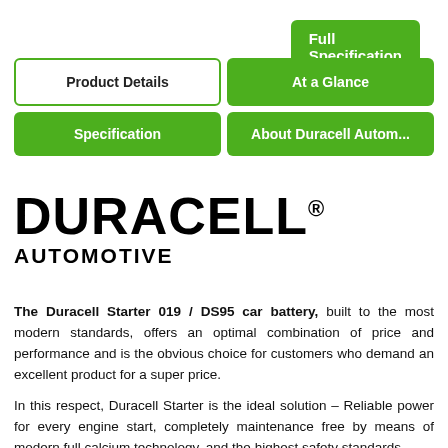Full Specification »
Product Details
At a Glance
Specification
About Duracell Autom...
DURACELL® AUTOMOTIVE
The Duracell Starter 019 / DS95 car battery, built to the most modern standards, offers an optimal combination of price and performance and is the obvious choice for customers who demand an excellent product for a super price.
In this respect, Duracell Starter is the ideal solution – Reliable power for every engine start, completely maintenance free by means of modern full calcium technology, and the highest safety standards.